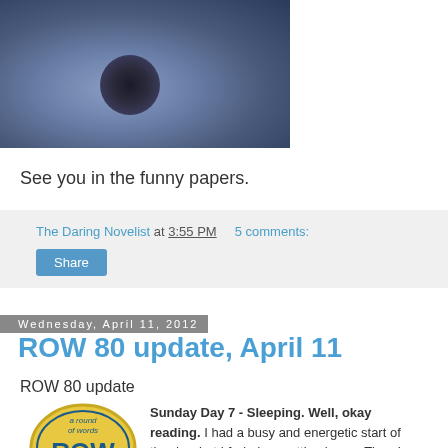[Figure (photo): Close-up photo of what appears to be a blue/purple flower or sea creature, dark background]
See you in the funny papers.
The Daring Novelist at 3:55 PM   5 comments:
[Figure (other): Share button]
Wednesday, April 11, 2012
ROW 80 update, April 11
ROW 80 update
[Figure (logo): ROW 80 badge - a round of words ROW 80 circular logo on gold/yellow background]
Sunday Day 7 - Sleeping. Well, okay reading. I had a busy and energetic start of the day, but I faded on getting home. Then I noted an increase in sales on some of my books, and so I went and